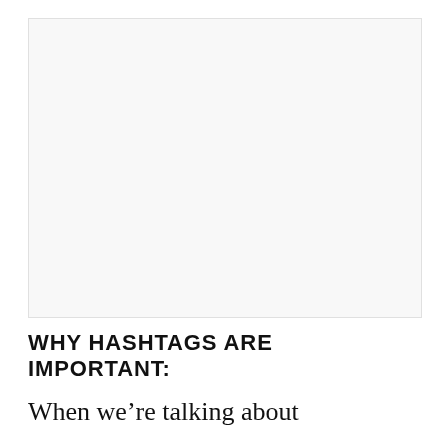[Figure (other): Large light grey rectangular image placeholder area at the top of the page]
WHY HASHTAGS ARE IMPORTANT:
When we're talking about